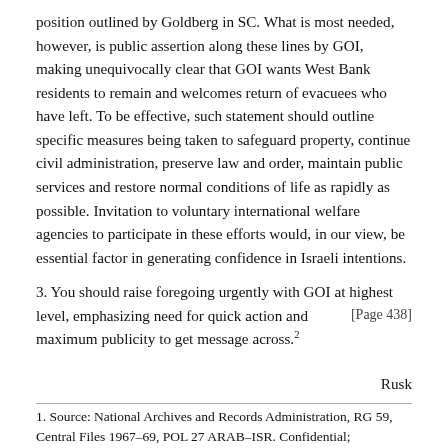position outlined by Goldberg in SC. What is most needed, however, is public assertion along these lines by GOI, making unequivocally clear that GOI wants West Bank residents to remain and welcomes return of evacuees who have left. To be effective, such statement should outline specific measures being taken to safeguard property, continue civil administration, preserve law and order, maintain public services and restore normal conditions of life as rapidly as possible. Invitation to voluntary international welfare agencies to participate in these efforts would, in our view, be essential factor in generating confidence in Israeli intentions.
3. You should raise foregoing urgently with GOI at [Page 438] highest level, emphasizing need for quick action and maximum publicity to get message across.2
Rusk
1. Source: National Archives and Records Administration, RG 59, Central Files 1967–69, POL 27 ARAB–ISR. Confidential; Immediate. Drafted by Atherton, cleared in draft by Davies and